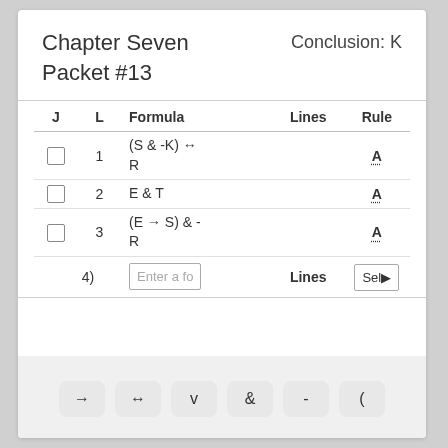Chapter Seven Packet #13
Conclusion: K
| J | L | Formula | Lines | Rule |
| --- | --- | --- | --- | --- |
| ☐ | 1 | (S & -K) ↔ R |  | A |
| ☐ | 2 | E & T |  | A |
| ☐ | 3 | (E → S) & -R |  | A |
|  | 4) | [Enter a formula] | Lines | Sel▶ |
→  ↔  v  &  -  (